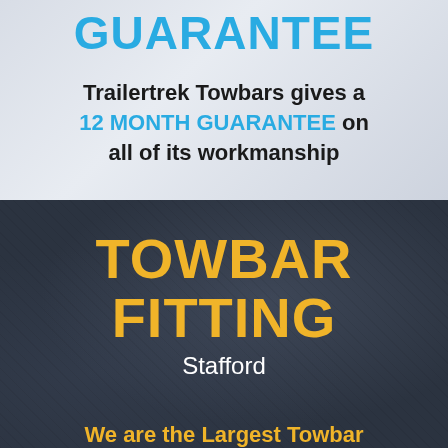GUARANTEE
Trailertrek Towbars gives a 12 MONTH GUARANTEE on all of its workmanship
TOWBAR FITTING
Stafford
We are the Largest Towbar Fitting Company in the